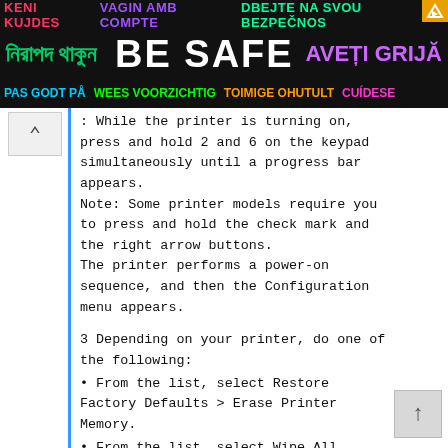[Figure (infographic): Multilingual safety banner with 'BE SAFE' in large white text on black background, with phrases in multiple languages in various colors]
While the printer is turning on, press and hold 2 and 6 on the keypad simultaneously until a progress bar appears.
Note: Some printer models require you to press and hold the check mark and the right arrow buttons.
The printer performs a power-on sequence, and then the Configuration menu appears.
3 Depending on your printer, do one of the following:
• From the list, select Restore Factory Defaults > Erase Printer Memory.
• From the list, select Wipe All Settings or Erase Printer Memory.